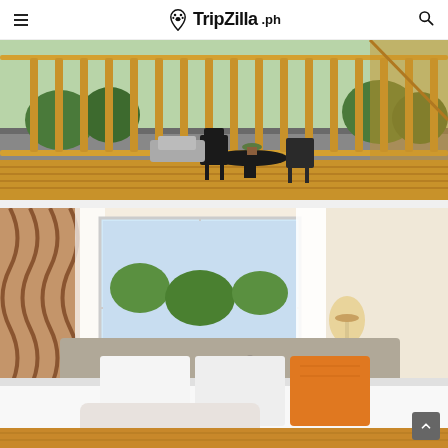TripZilla.ph
[Figure (photo): Balcony of a hotel or accommodation with wooden railing slats, two black metal chairs and a small round table with a potted plant, overlooking a street with trees and parked vehicles]
[Figure (photo): Hotel room interior with a large white bed with an orange accent pillow and grey upholstered headboard, large window with white curtains and patterned drape, bedside lamp, and neutral-toned decor]